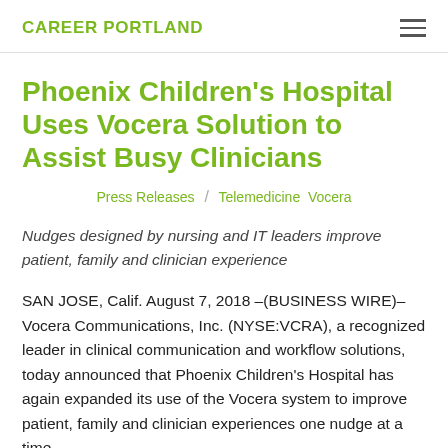CAREER PORTLAND
Phoenix Children's Hospital Uses Vocera Solution to Assist Busy Clinicians
Press Releases / Telemedicine Vocera
Nudges designed by nursing and IT leaders improve patient, family and clinician experience
SAN JOSE, Calif. August 7, 2018 –(BUSINESS WIRE)– Vocera Communications, Inc. (NYSE:VCRA), a recognized leader in clinical communication and workflow solutions, today announced that Phoenix Children's Hospital has again expanded its use of the Vocera system to improve patient, family and clinician experiences one nudge at a time.